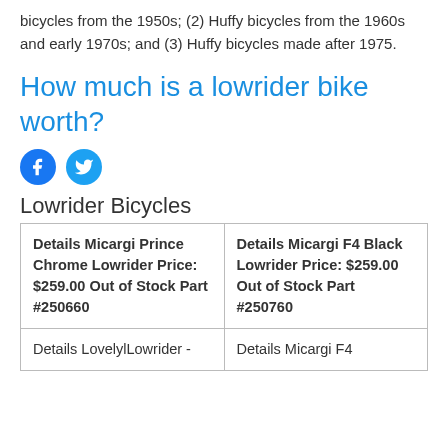bicycles from the 1950s; (2) Huffy bicycles from the 1960s and early 1970s; and (3) Huffy bicycles made after 1975.
How much is a lowrider bike worth?
[Figure (other): Facebook and Twitter social media icons]
Lowrider Bicycles
| Details Micargi Prince Chrome Lowrider Price: $259.00 Out of Stock Part #250660 | Details Micargi F4 Black Lowrider Price: $259.00 Out of Stock Part #250760 |
| Details LovelylLowrider - | Details Micargi F4 |